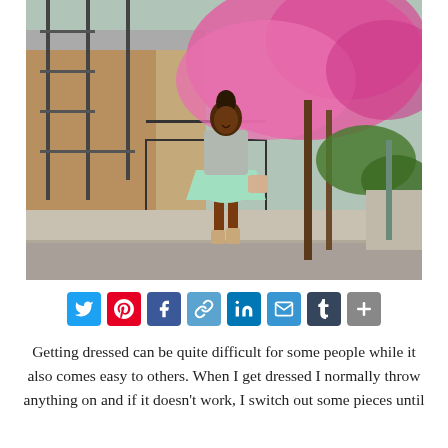[Figure (photo): A woman in a mint green skater skirt, grey top, and tan lace-up heels poses on a sidewalk in front of a blooming pink cherry blossom tree with a metal fire escape staircase in the background.]
[Figure (infographic): Social sharing buttons row: Twitter (blue bird), Pinterest (red P), Facebook (blue f), Link (teal chain), LinkedIn (blue in), Email (blue envelope), Tumblr (dark t), More (grey plus)]
Getting dressed can be quite difficult for some people while it also comes easy to others. When I get dressed I normally throw anything on and if it doesn't work, I switch out some pieces until